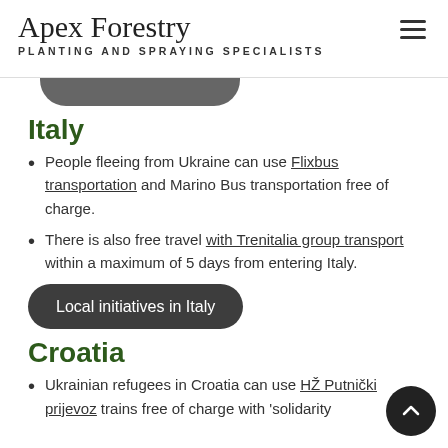Apex Forestry — PLANTING AND SPRAYING SPECIALISTS
Italy
People fleeing from Ukraine can use Flixbus transportation and Marino Bus transportation free of charge.
There is also free travel with Trenitalia group transport within a maximum of 5 days from entering Italy.
Local initiatives in Italy
Croatia
Ukrainian refugees in Croatia can use HŽ Putnički prijevoz trains free of charge with 'solidarity